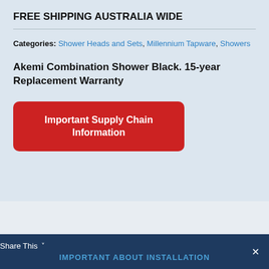FREE SHIPPING AUSTRALIA WIDE
Categories: Shower Heads and Sets, Millennium Tapware, Showers
Akemi Combination Shower Black. 15-year Replacement Warranty
Important Supply Chain Information
Share This  ×  IMPORTANT ABOUT INSTALLATION